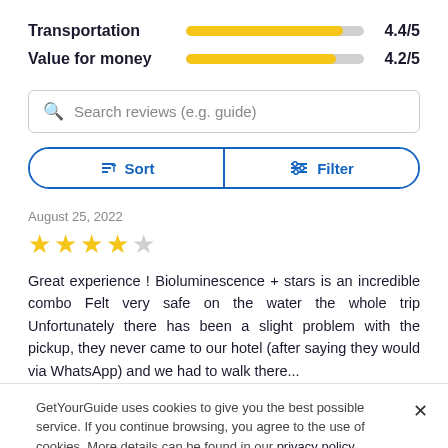[Figure (bar-chart): Rating bars]
[Figure (other): Search reviews input box with magnifying glass icon and placeholder text 'Search reviews (e.g. guide)']
[Figure (other): Sort and Filter button row with blue border, two halves: Sort (with sort icon) and Filter (with filter icon)]
August 25, 2022
[Figure (other): 4 out of 5 stars rating — 4 filled yellow stars, 1 empty gray star]
Great experience ! Bioluminescence + stars is an incredible combo Felt very safe on the water the whole trip Unfortunately there has been a slight problem with the pickup, they never came to our hotel (after saying they would via WhatsApp) and we had to walk there...
GetYourGuide uses cookies to give you the best possible service. If you continue browsing, you agree to the use of cookies. More details can be found in our privacy policy.